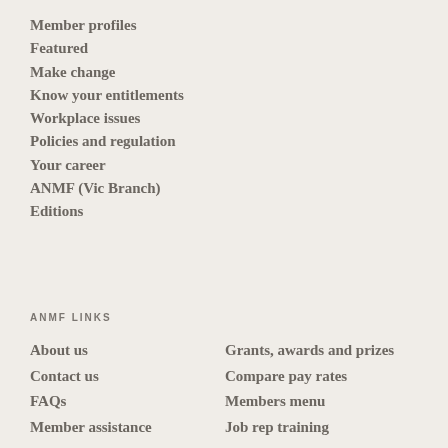Member profiles
Featured
Make change
Know your entitlements
Workplace issues
Policies and regulation
Your career
ANMF (Vic Branch)
Editions
ANMF LINKS
About us
Grants, awards and prizes
Contact us
Compare pay rates
FAQs
Members menu
Member assistance
Job rep training